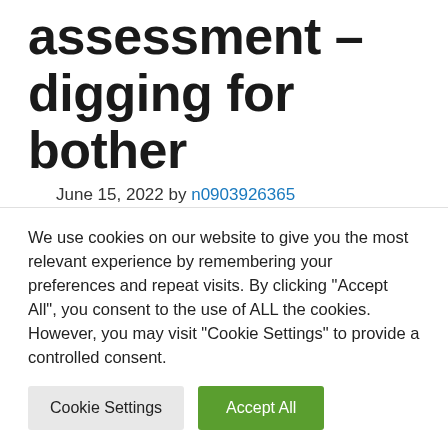assessment – digging for bother
June 15, 2022 by n0903926365
The Quarry – who will continue to exist and
We use cookies on our website to give you the most relevant experience by remembering your preferences and repeat visits. By clicking "Accept All", you consent to the use of ALL the cookies. However, you may visit "Cookie Settings" to provide a controlled consent.